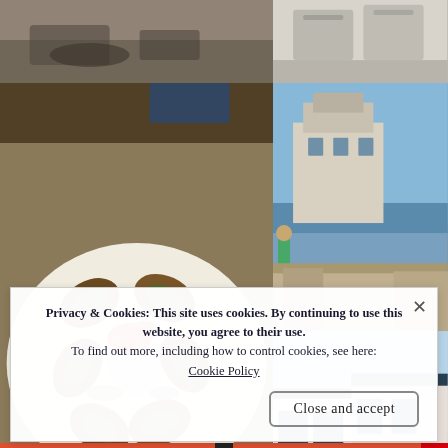[Figure (photo): Grid of travel/food photos: top-left shows hands near food preparation on a table, top-right shows chairs, middle-left is a close-up plate of grilled scallops or fish cakes with red pepper topping and green sauce, middle-right shows a person leaning on a wall overlooking a coastal town with a large ornate building, bottom-right shows a European-style street with white and dark-trimmed buildings.]
Privacy & Cookies: This site uses cookies. By continuing to use this website, you agree to their use.
To find out more, including how to control cookies, see here: Cookie Policy
Close and accept